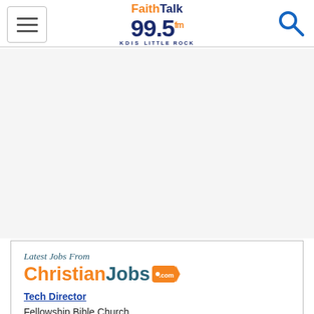FaithTalk 99.5 fm KDIS LITTLE ROCK
[Figure (logo): FaithTalk 99.5 fm KDIS Little Rock radio station logo with hamburger menu and search icon]
Latest Jobs From
[Figure (logo): ChristianJobs.com logo with orange 'Christian' text and teal 'Jobs' text and tag icon]
Tech Director
Fellowship Bible Church